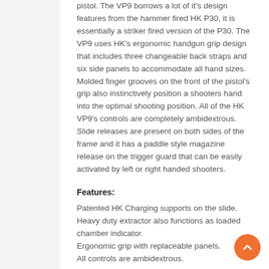pistol. The VP9 borrows a lot of it's design features from the hammer fired HK P30, it is essentially a striker fired version of the P30. The VP9 uses HK's ergonomic handgun grip design that includes three changeable back straps and six side panels to accommodate all hand sizes. Molded finger grooves on the front of the pistol's grip also instinctively position a shooters hand into the optimal shooting position. All of the HK VP9's controls are completely ambidextrous. Slide releases are present on both sides of the frame and it has a paddle style magazine release on the trigger guard that can be easily activated by left or right handed shooters.
Features:
Patented HK Charging supports on the slide.
Heavy duty extractor also functions as loaded chamber indicator.
Ergonomic grip with replaceable panels.
All controls are ambidextrous.